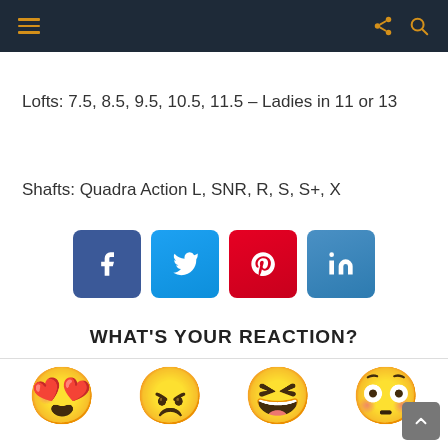Navigation bar with hamburger menu, share, and search icons
Lofts: 7.5, 8.5, 9.5, 10.5, 11.5 – Ladies in 11 or 13
Shafts: Quadra Action L, SNR, R, S, S+, X
[Figure (infographic): Social media share buttons: Facebook, Twitter, Pinterest, LinkedIn]
WHAT'S YOUR REACTION?
[Figure (infographic): Four emoji reaction faces: heart-eyes, angry, laughing, shocked/surprised]